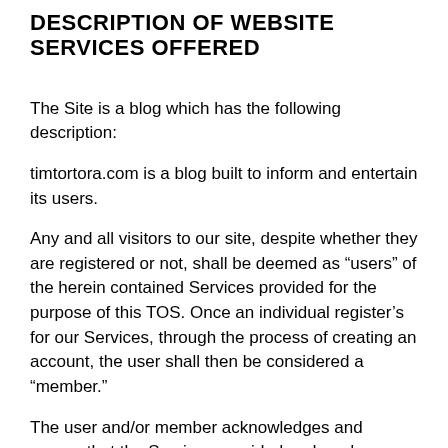DESCRIPTION OF WEBSITE SERVICES OFFERED
The Site is a blog which has the following description:
timtortora.com is a blog built to inform and entertain its users.
Any and all visitors to our site, despite whether they are registered or not, shall be deemed as “users” of the herein contained Services provided for the purpose of this TOS. Once an individual register’s for our Services, through the process of creating an account, the user shall then be considered a “member.”
The user and/or member acknowledges and agrees that the Services provided and made available through our website and applications, which may